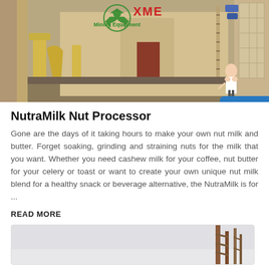[Figure (photo): Industrial mining equipment facility with yellow/beige machinery and structures, XME Mining Equipment logo overlaid in top center area, woman character in white coat on right side]
NutraMilk Nut Processor
Gone are the days of it taking hours to make your own nut milk and butter. Forget soaking, grinding and straining nuts for the milk that you want. Whether you need cashew milk for your coffee, nut butter for your celery or toast or want to create your own unique nut milk blend for a healthy snack or beverage alternative, the NutraMilk is for ...
READ MORE
[Figure (photo): Partial view of industrial equipment, appears to be a crane or tower structure against a light sky background]